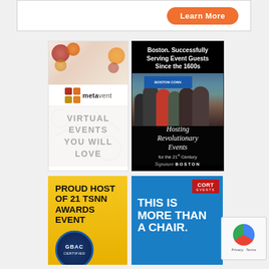[Figure (other): Top banner advertisement with 'Learn More' orange button]
[Figure (other): Metavent advertisement - Virtual Events You Will Love]
[Figure (other): Signature Boston advertisement - Hosting Revolutionary Events for the 21st Century]
[Figure (other): Proud Host of 21 TSNN Awards Event with GBAC badge]
[Figure (other): CORT Events - This Is More Than A Chair advertisement]
[Figure (other): reCAPTCHA Privacy - Terms widget]